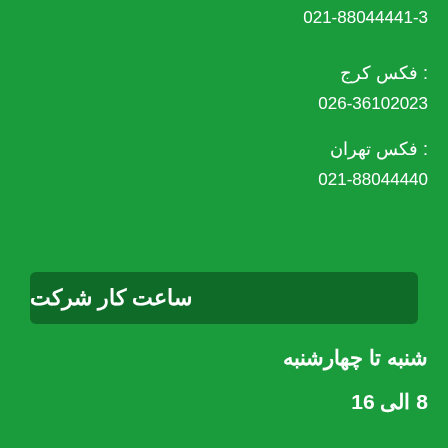021-88044441-3
فکس کرج :
026-36102023
فکس تهران :
021-88044440
ساعت کار شرکت
شنبه تا چهارشنبه
8 الی 16